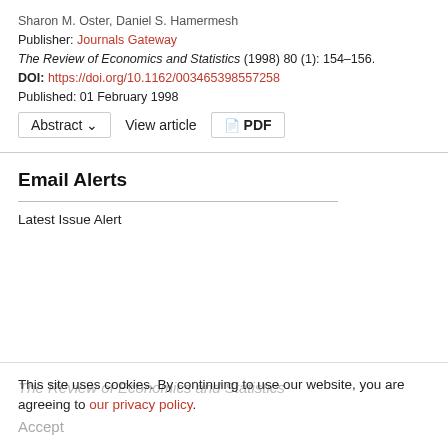Sharon M. Oster, Daniel S. Hamermesh
Publisher: Journals Gateway
The Review of Economics and Statistics (1998) 80 (1): 154–156.
DOI: https://doi.org/10.1162/003465398557258
Published: 01 February 1998
Abstract ∨   View article   📄 PDF
Email Alerts
Latest Issue Alert
This site uses cookies. By continuing to use our website, you are agreeing to our privacy policy. Accept